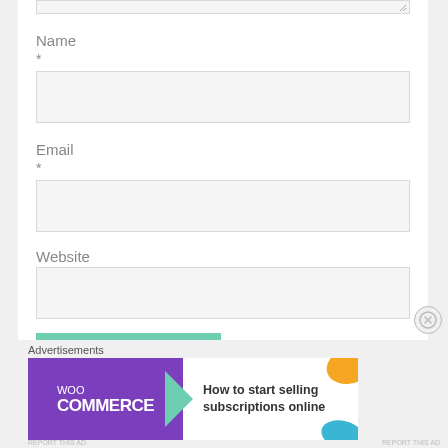[Figure (screenshot): Partial view of the top of a web form textarea input (clipped at top of page)]
Name
*
[Figure (screenshot): Empty text input field for Name]
Email
*
[Figure (screenshot): Empty text input field for Email]
Website
[Figure (screenshot): Empty text input field for Website]
[Figure (screenshot): Green submit button (partially visible)]
Advertisements
[Figure (screenshot): WooCommerce advertisement banner: How to start selling subscriptions online]